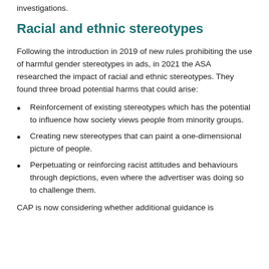investigations.
Racial and ethnic stereotypes
Following the introduction in 2019 of new rules prohibiting the use of harmful gender stereotypes in ads, in 2021 the ASA researched the impact of racial and ethnic stereotypes. They found three broad potential harms that could arise:
Reinforcement of existing stereotypes which has the potential to influence how society views people from minority groups.
Creating new stereotypes that can paint a one-dimensional picture of people.
Perpetuating or reinforcing racist attitudes and behaviours through depictions, even where the advertiser was doing so to challenge them.
CAP is now considering whether additional guidance is